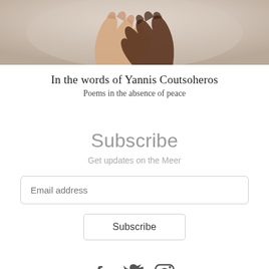[Figure (photo): Cropped photo showing two hands clasped together — one lighter-skinned and one darker-skinned — against a blurred light background.]
In the words of Yannis Coutsoheros
Poems in the absence of peace
Subscribe
Get updates on the Meer
Email address
Subscribe
[Figure (illustration): Social media icons: Facebook (f), Twitter (bird), Instagram (camera outline)]